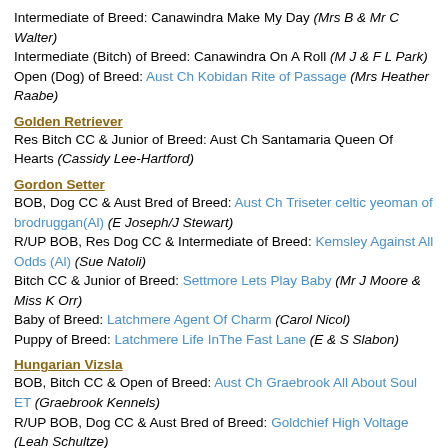Intermediate of Breed: Canawindra Make My Day (Mrs B & Mr C Walter)
Intermediate (Bitch) of Breed: Canawindra On A Roll (M J & F L Park)
Open (Dog) of Breed: Aust Ch Kobidan Rite of Passage (Mrs Heather Raabe)
Golden Retriever
Res Bitch CC & Junior of Breed: Aust Ch Santamaria Queen Of Hearts (Cassidy Lee-Hartford)
Gordon Setter
BOB, Dog CC & Aust Bred of Breed: Aust Ch Triseter celtic yeoman of brodruggan(AI) (E Joseph/J Stewart)
R/UP BOB, Res Dog CC & Intermediate of Breed: Kemsley Against All Odds (AI) (Sue Natoli)
Bitch CC & Junior of Breed: Settmore Lets Play Baby (Mr J Moore & Miss K Orr)
Baby of Breed: Latchmere Agent Of Charm (Carol Nicol)
Puppy of Breed: Latchmere Life InThe Fast Lane (E & S Slabon)
Hungarian Vizsla
BOB, Bitch CC & Open of Breed: Aust Ch Graebrook All About Soul ET (Graebrook Kennels)
R/UP BOB, Dog CC & Aust Bred of Breed: Goldchief High Voltage (Leah Schultze)
Res Bitch CC & Puppy of Breed: Yzabeau Quantum Quiyanna (Kim Bilton)